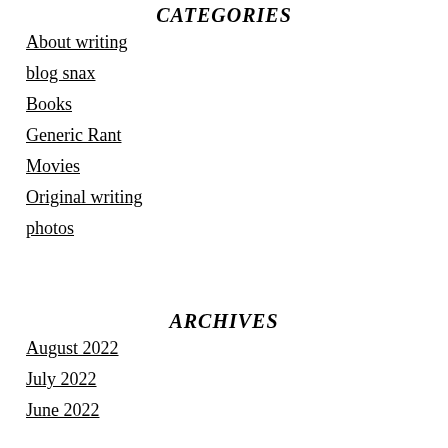CATEGORIES
About writing
blog snax
Books
Generic Rant
Movies
Original writing
photos
ARCHIVES
August 2022
July 2022
June 2022